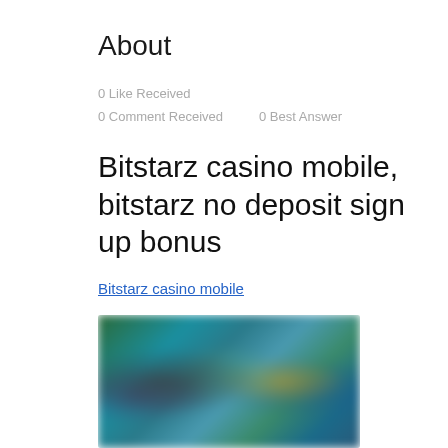About
0 Like Received
0 Comment Received    0 Best Answer
Bitstarz casino mobile, bitstarz no deposit sign up bonus
Bitstarz casino mobile
[Figure (photo): Blurred screenshot of a gaming/casino website with colorful characters and game thumbnails visible in the background]